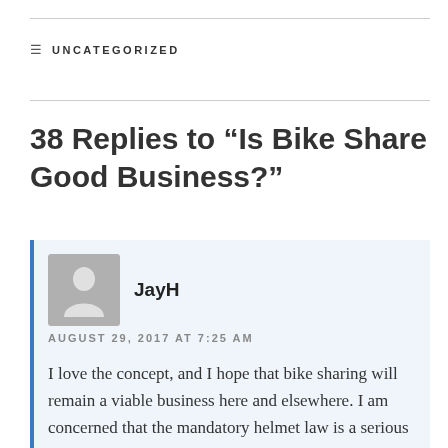UNCATEGORIZED
38 Replies to “Is Bike Share Good Business?”
JayH
AUGUST 29, 2017 AT 7:25 AM
I love the concept, and I hope that bike sharing will remain a viable business here and elsewhere. I am concerned that the mandatory helmet law is a serious impediment. I am not gonna drag a helmet around with me on the chance there is a bike